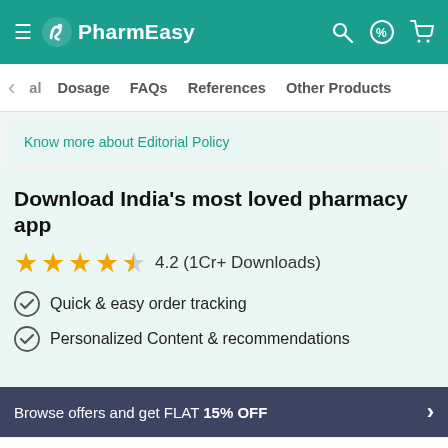PharmEasy
al   Dosage   FAQs   References   Other Products
Know more about Editorial Policy
Download India's most loved pharmacy app
4.2 (1Cr+ Downloads)
Quick & easy order tracking
Personalized Content & recommendations
Browse offers and get FLAT 15% OFF
Aciloc 150mg Strip Of 15 Tablets
₹17.7  15% OFF